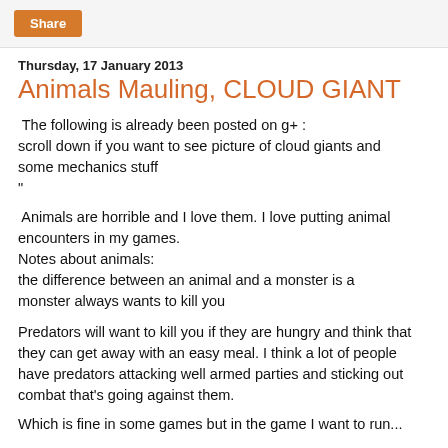Share
Thursday, 17 January 2013
Animals Mauling, CLOUD GIANT
The following is already been posted on g+ :
scroll down if you want to see picture of cloud giants and some mechanics stuff
"
Animals are horrible and I love them. I love putting animal encounters in my games.
Notes about animals:
the difference between an animal and a monster is a monster always wants to kill you
Predators will want to kill you if they are hungry and think that they can get away with an easy meal. I think a lot of people have predators attacking well armed parties and sticking out combat that's going against them.
Which is fine in some games but in the game I want to run...